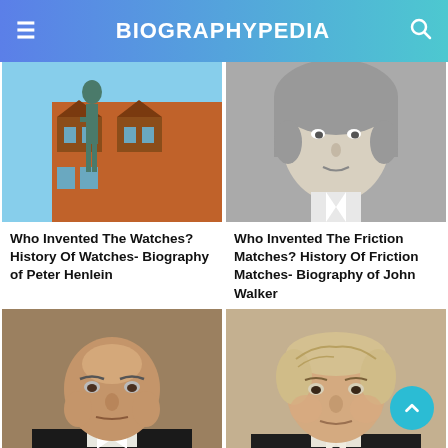BIOGRAPHYPEDIA
[Figure (photo): Bronze statue of Peter Henlein against orange building backdrop]
Who Invented The Watches? History Of Watches- Biography of Peter Henlein
[Figure (photo): Black and white engraving portrait of John Walker in wig]
Who Invented The Friction Matches? History Of Friction Matches- Biography of John Walker
[Figure (photo): Oil painting portrait of older man in dark coat with white cravat]
[Figure (photo): Pastel portrait of man with light hair in dark coat]